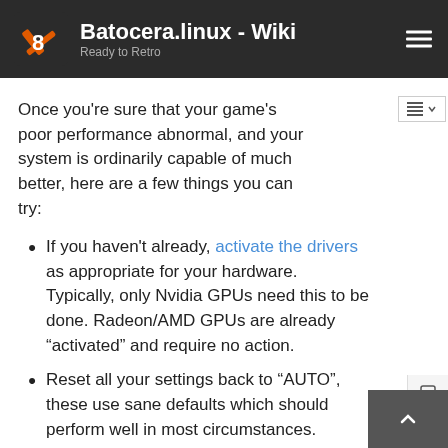Batocera.linux - Wiki
Ready to Retro
Once you're sure that your game's poor performance abnormal, and your system is ordinarily capable of much better, here are a few things you can try:
If you haven't already, activate the drivers as appropriate for your hardware. Typically, only Nvidia GPUs need this to be done. Radeon/AMD GPUs are already “activated” and require no action.
Reset all your settings back to “AUTO”, these use sane defaults which should perform well in most circumstances.
Change the graphics API being used by your emulator. This can typically be found in the system's advanced settings. Not all emulators have access to all APIs. From best to worst: Vulkan, GLCore, OpenGL.
Ensure that your audio buffer isn't being choked; if your system is unable to process audio frames as quickly as they are being produced, this could put a